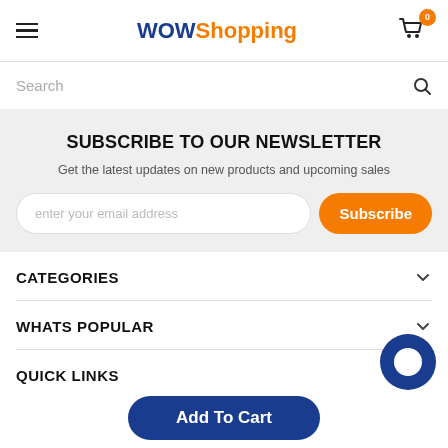WOWShopping — hamburger menu, logo, cart (0)
Search
SUBSCRIBE TO OUR NEWSLETTER
Get the latest updates on new products and upcoming sales
enter your email address | Subscribe
CATEGORIES
WHATS POPULAR
QUICK LINKS
Add To Cart